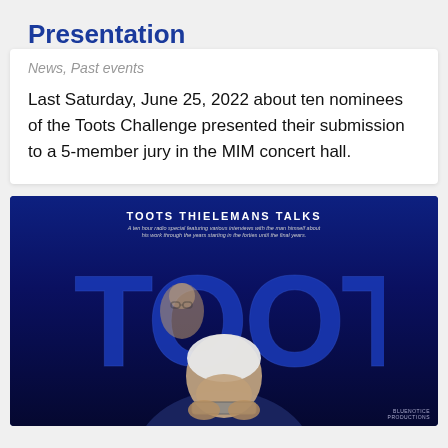Presentation
News, Past events
Last Saturday, June 25, 2022 about ten nominees of the Toots Challenge presented their submission to a 5-member jury in the MIM concert hall.
[Figure (photo): Album or promotional cover for 'Toots Thielemans Talks' — a radio special. Large blue stylized text 'TOOTS' in background, with a younger portrait of Toots Thielemans visible through the letters. In the foreground, an elderly man (Toots Thielemans) plays harmonica, lit dramatically in blue light.]